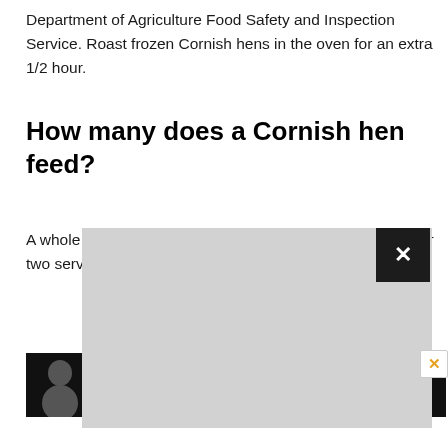Department of Agriculture Food Safety and Inspection Service. Roast frozen Cornish hens in the oven for an extra 1/2 hour.
How many does a Cornish hen feed?
A whole Cornish hen is enough for one generous serving or two servings
[Figure (screenshot): Advertisement overlay with gray background and close (X) button in dark square, partially obscuring page content. Bottom strip shows a partial photo and a black bar.]